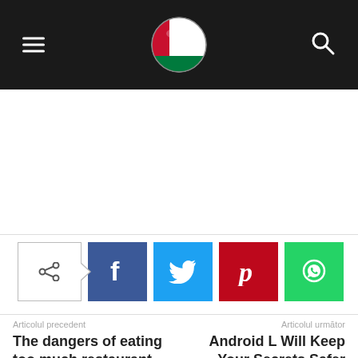Navigation bar with hamburger menu, Oman flag logo, and search icon
[Figure (infographic): Share buttons: share toggle icon, Facebook, Twitter, Pinterest, WhatsApp]
Articolul precedent
The dangers of eating too much restaurant food
Articolul următor
Android L Will Keep Your Secrets Safer
[Figure (photo): Author card with placeholder avatar image (grey square with white circle)]